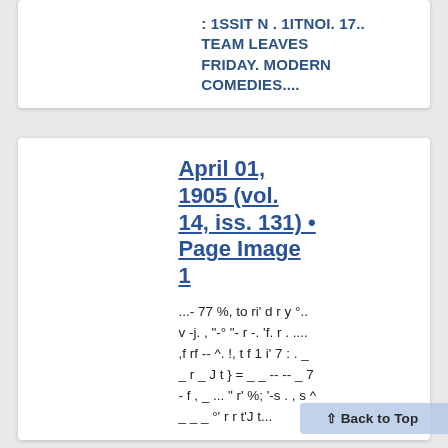: ISSIT N . 1ITNOI. 17.. TEAM LEAVES FRIDAY. MODERN COMEDIES....
April 01, 1905 (vol. 14, iss. 131) • Page Image 1
...- 77 %, to ri' d r y °.. v -j. , "-° "- r -. 'f. r . .... ,f rf -- ^. !, t f 1 i' 7 : . _ _ r _ J t } = _ _ -- -- _ 7 - f , _ ... " r' %; '-s . , s ^ _ _ _ °' r r t'J t...
Back to Top